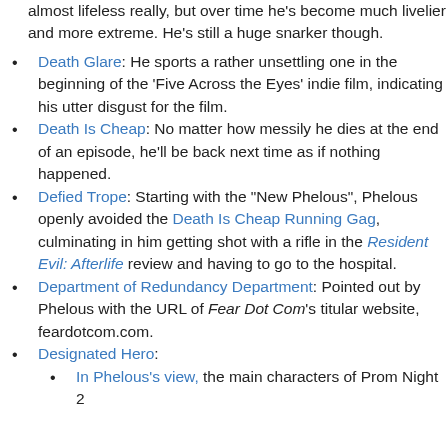almost lifeless really, but over time he's become much livelier and more extreme. He's still a huge snarker though.
Death Glare: He sports a rather unsettling one in the beginning of the 'Five Across the Eyes' indie film, indicating his utter disgust for the film.
Death Is Cheap: No matter how messily he dies at the end of an episode, he'll be back next time as if nothing happened.
Defied Trope: Starting with the "New Phelous", Phelous openly avoided the Death Is Cheap Running Gag, culminating in him getting shot with a rifle in the Resident Evil: Afterlife review and having to go to the hospital.
Department of Redundancy Department: Pointed out by Phelous with the URL of Fear Dot Com's titular website, feardotcom.com.
Designated Hero:
In Phelous's view, the main characters of Prom Night 2...